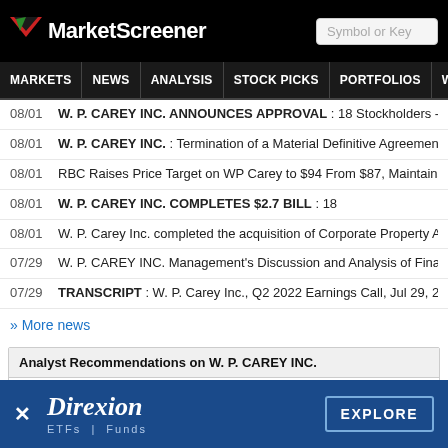MarketScreener
MARKETS NEWS ANALYSIS STOCK PICKS PORTFOLIOS WATCHLI
08/01 W. P. CAREY INC. ANNOUNCES APPROVAL : 18 Stockholders - Form 8
08/01 W. P. CAREY INC. : Termination of a Material Definitive Agreement, Regu
08/01 RBC Raises Price Target on WP Carey to $94 From $87, Maintains Outpe
08/01 W. P. CAREY INC. COMPLETES $2.7 BILL : 18
08/01 W. P. Carey Inc. completed the acquisition of Corporate Property Associa
07/29 W. P. CAREY INC. Management's Discussion and Analysis of Financial C
07/29 TRANSCRIPT : W. P. Carey Inc., Q2 2022 Earnings Call, Jul 29, 2022
» More news
Analyst Recommendations on W. P. CAREY INC.
08/03 JMP Securities Adjusts W. P. Carey's Price Target to $93 From $87, Keep
08/01 RBC Raises Price Target on WP Carey to $94 From $87, Maintains Outpe
[Figure (logo): Direxion ETFs | Funds advertisement banner with EXPLORE button]